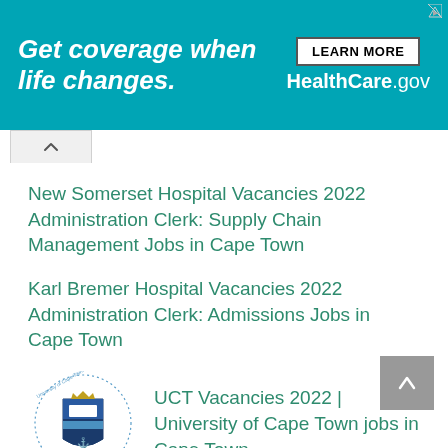[Figure (infographic): HealthCare.gov advertisement banner: teal background with white italic bold text 'Get coverage when life changes.' and a 'LEARN MORE / HealthCare.gov' button on the right]
New Somerset Hospital Vacancies 2022 Administration Clerk: Supply Chain Management Jobs in Cape Town
Karl Bremer Hospital Vacancies 2022 Administration Clerk: Admissions Jobs in Cape Town
UCT Vacancies 2022 | University of Cape Town jobs in Cape Town
(partial bottom text cut off)